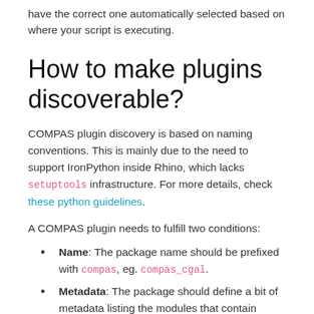have the correct one automatically selected based on where your script is executing.
How to make plugins discoverable?
COMPAS plugin discovery is based on naming conventions. This is mainly due to the need to support IronPython inside Rhino, which lacks setuptools infrastructure. For more details, check these python guidelines.
A COMPAS plugin needs to fulfill two conditions:
Name: The package name should be prefixed with compas, eg. compas_cgal.
Metadata: The package should define a bit of metadata listing the modules that contain plugins. This is done declaring a variable called